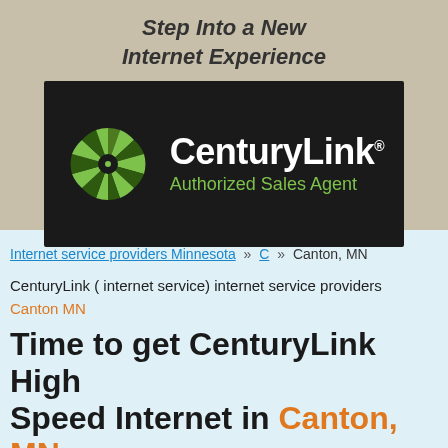Step Into a New Internet Experience
[Figure (logo): CenturyLink Authorized Sales Agent logo on black background with green pinwheel icon]
Internet service providers Minnesota » C » Canton, MN
CenturyLink ( internet service) internet service providers Canton MN
Time to get CenturyLink High Speed Internet in Canton, MN